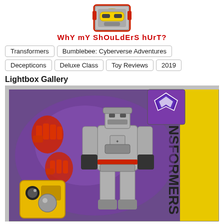[Figure (logo): Robot/character face logo for 'Why My Shoulders Hurt?' blog — red and yellow cartoon robot head]
WhY mY ShOuLdErS hUrT?
Transformers
Bumblebee: Cyberverse Adventures
Decepticons
Deluxe Class
Toy Reviews
2019
Lightbox Gallery
[Figure (photo): Transformers Bumblebee Cyberverse Adventures Deluxe Class Megatron action figure in packaging. The box shows a gray Megatron robot figure with red accent details and Decepticon logo on chest, red translucent fist accessories, partial Bumblebee head visible at bottom left, purple background inside box, Decepticon logo badge at top right, and 'TRANSFORMERS' text on right side of box in yellow/black.]